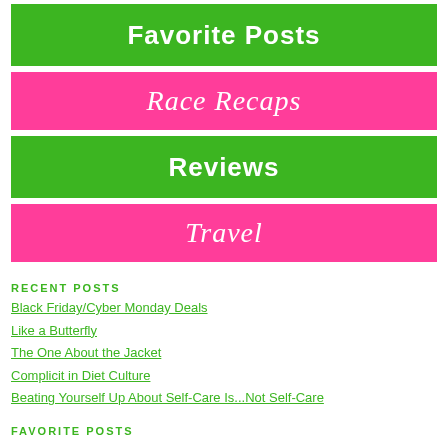Favorite Posts
Race Recaps
Reviews
Travel
RECENT POSTS
Black Friday/Cyber Monday Deals
Like a Butterfly
The One About the Jacket
Complicit in Diet Culture
Beating Yourself Up About Self-Care Is...Not Self-Care
FAVORITE POSTS